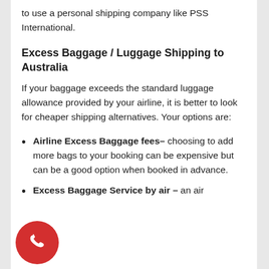to use a personal shipping company like PSS International.
Excess Baggage / Luggage Shipping to Australia
If your baggage exceeds the standard luggage allowance provided by your airline, it is better to look for cheaper shipping alternatives. Your options are:
Airline Excess Baggage fees– choosing to add more bags to your booking can be expensive but can be a good option when booked in advance.
Excess Baggage Service by air – an air